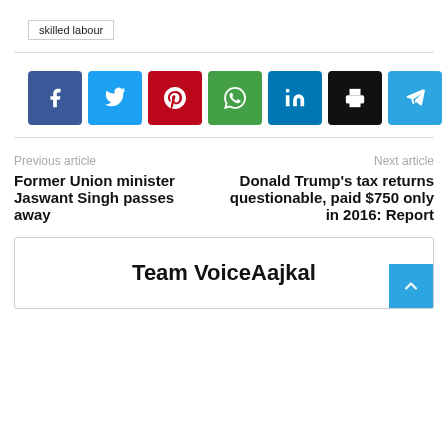skilled labour
[Figure (infographic): Row of social sharing buttons: Facebook (blue), Twitter (cyan), Pinterest (red), WhatsApp (green), LinkedIn (dark blue), Print (black), Telegram (light blue)]
Previous article
Next article
Former Union minister Jaswant Singh passes away
Donald Trump's tax returns questionable, paid $750 only in 2016: Report
Team VoiceAajkal